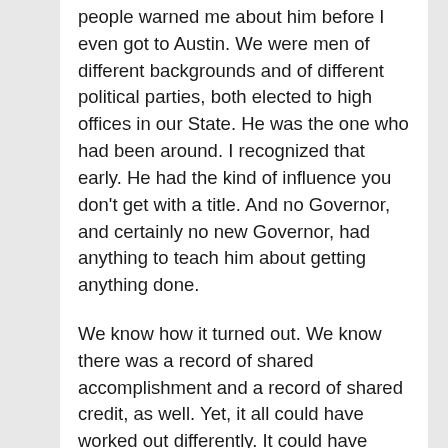people warned me about him before I even got to Austin. We were men of different backgrounds and of different political parties, both elected to high offices in our State. He was the one who had been around. I recognized that early. He had the kind of influence you don't get with a title. And no Governor, and certainly no new Governor, had anything to teach him about getting anything done.
We know how it turned out. We know there was a record of shared accomplishment and a record of shared credit, as well. Yet, it all could have worked out differently. It could have been much different. Had he chosen to, Bob—and for that matter, Pete Laney—could have prevented tax reform or legal reform or education reform. In